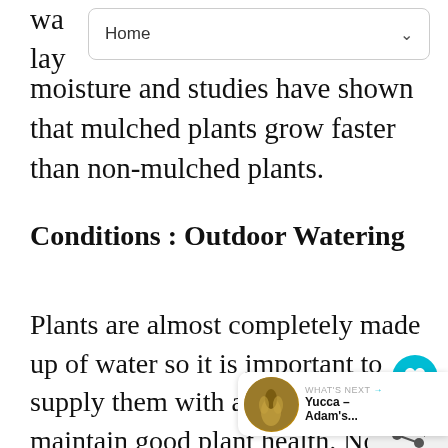Home
wa... lay... moisture and studies have shown that mulched plants grow faster than non-mulched plants.
Conditions : Outdoor Watering
Plants are almost completely made up of water so it is important to supply them with adequate water to maintain good plant health. Not enough water and roots will wither and the plant will wilt and die. Too much water applied too frequently deprives roots of oxygen leading to plant diseases such as root and stem rots. The type of plant, plant age, light level, type and container size all will impact when a plant needs to be watered. Follow these tips to